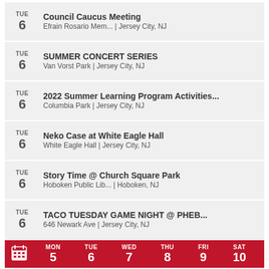TUE 6 — Council Caucus Meeting | Efrain Rosario Mem... | Jersey City, NJ
TUE 6 — SUMMER CONCERT SERIES | Van Vorst Park | Jersey City, NJ
TUE 6 — 2022 Summer Learning Program Activities... | Columbia Park | Jersey City, NJ
TUE 6 — Neko Case at White Eagle Hall | White Eagle Hall | Jersey City, NJ
TUE 6 — Story Time @ Church Square Park | Hoboken Public Lib... | Hoboken, NJ
TUE 6 — TACO TUESDAY GAME NIGHT @ PHEB... | 646 Newark Ave | Jersey City, NJ
[Figure (other): Red navigation bar with calendar icon and days MON 5, TUE 6, WED 7, THU 8, FRI 9, SAT 10]
See all events   + Add your event